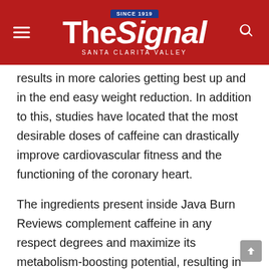The Signal — Santa Clarita Valley
results in more calories getting best up and in the end easy weight reduction. In addition to this, studies have located that the most desirable doses of caffeine can drastically improve cardiovascular fitness and the functioning of the coronary heart.
The ingredients present inside Java Burn Reviews complement caffeine in any respect degrees and maximize its metabolism-boosting potential, resulting in powerful fat breakdown and weight reduction. The first-class part about those components is that they decrease all of the bad elements of caffeine and maximize all of the high-